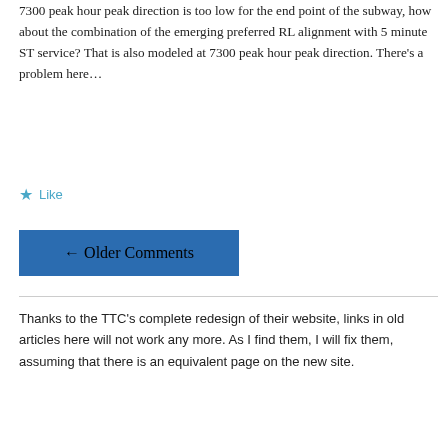7300 peak hour peak direction is too low for the end point of the subway, how about the combination of the emerging preferred RL alignment with 5 minute ST service? That is also modeled at 7300 peak hour peak direction. There's a problem here…
★ Like
← Older Comments
Thanks to the TTC's complete redesign of their website, links in old articles here will not work any more. As I find them, I will fix them, assuming that there is an equivalent page on the new site.